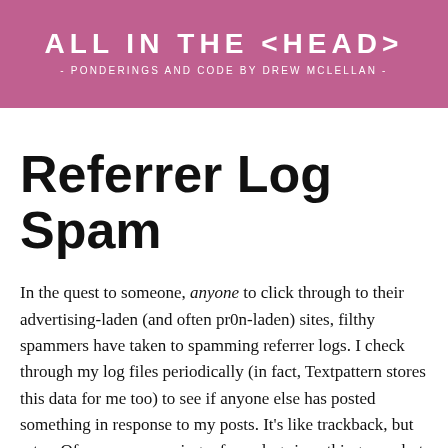ALL IN THE <HEAD> - PONDERINGS AND CODE BY DREW MCLELLAN -
Referrer Log Spam
In the quest to someone, anyone to click through to their advertising-laden (and often pr0n-laden) sites, filthy spammers have taken to spamming referrer logs. I check through my log files periodically (in fact, Textpattern stores this data for me too) to see if anyone else has posted something in response to my posts. It's like trackback, but retro. Of course spamming referrer logs is nothing new, but it seems to be getting to the point now where it's really